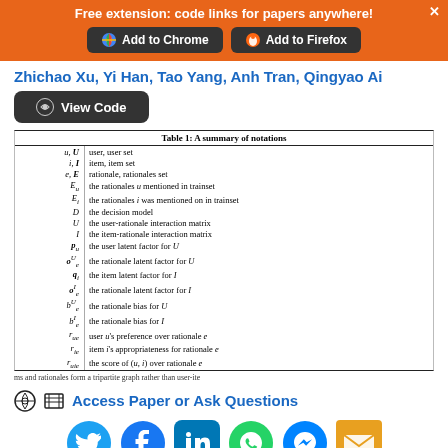Free extension: code links for papers anywhere!
Add to Chrome | Add to Firefox
Zhichao Xu, Yi Han, Tao Yang, Anh Tran, Qingyao Ai
View Code
| Symbol | Description |
| --- | --- |
| u, U | user, user set |
| i, I | item, item set |
| e, E | rationale, rationales set |
| E_u | the rationales u mentioned in trainset |
| E_i | the rationales i was mentioned on in trainset |
| D | the decision model |
| U | the user-rationale interaction matrix |
| I | the item-rationale interaction matrix |
| p_u | the user latent factor for U |
| o_e^U | the rationale latent factor for U |
| q_i | the item latent factor for I |
| o_e^I | the rationale latent factor for I |
| b_e^U | the rationale bias for U |
| b_e^I | the rationale bias for I |
| r_ue | user u's preference over rationale e |
| r_ie | item i's appropriateness for rationale e |
| r_uie | the score of (u,i) over rationale e |
Table 1: A summary of notations
ms and rationales form a tripartite graph rather than user-ite
Access Paper or Ask Questions
[Figure (infographic): Social media share icons: Twitter, Facebook, LinkedIn, WhatsApp, Messenger, Email]